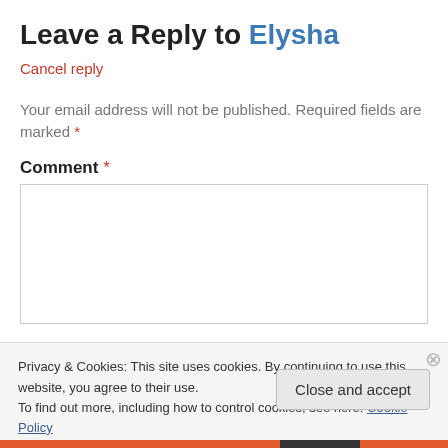Leave a Reply to Elysha
Cancel reply
Your email address will not be published. Required fields are marked *
Comment *
Privacy & Cookies: This site uses cookies. By continuing to use this website, you agree to their use.
To find out more, including how to control cookies, see here: Cookie Policy